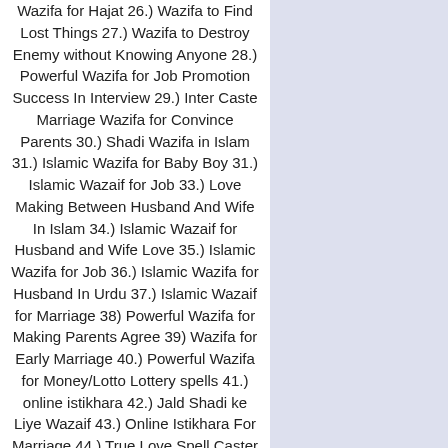Wazifa for Hajat 26.) Wazifa to Find Lost Things 27.) Wazifa to Destroy Enemy without Knowing Anyone 28.) Powerful Wazifa for Job Promotion Success In Interview 29.) Inter Caste Marriage Wazifa for Convince Parents 30.) Shadi Wazifa in Islam 31.) Islamic Wazifa for Baby Boy 31.) Islamic Wazaif for Job 33.) Love Making Between Husband And Wife In Islam 34.) Islamic Wazaif for Husband and Wife Love 35.) Islamic Wazifa for Job 36.) Islamic Wazifa for Husband In Urdu 37.) Islamic Wazaif for Marriage 38) Powerful Wazifa for Making Parents Agree 39) Wazifa for Early Marriage 40.) Powerful Wazifa for Money/Lotto Lottery spells 41.) online istikhara 42.) Jald Shadi ke Liye Wazaif 43.) Online Istikhara For Marriage 44.) True Love Spell Caster 45.) Win Back Your Lovers Spell 46.) Bring Back Your Lost Lover Back 47.)